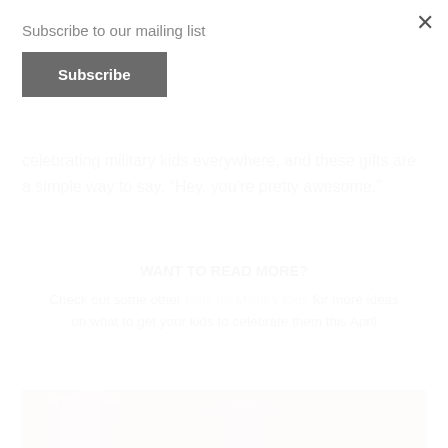Subscribe to our mailing list
Subscribe
celebrating military kids everywhere, and these gifts are a simple way to say, “Hey, you’re pretty awesome.”
WANT TO READ MORE?
Check out some other Gifts for Military Kids for more ideas on what to get your kids to celebrate them this April
[Figure (photo): Photo of mauve/dusty rose colored t-shirts laid flat on a white surface]